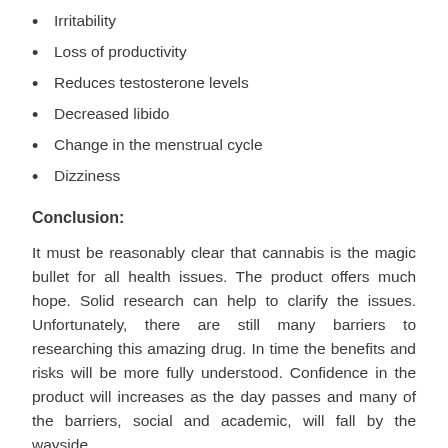Irritability
Loss of productivity
Reduces testosterone levels
Decreased libido
Change in the menstrual cycle
Dizziness
Conclusion:
It must be reasonably clear that cannabis is the magic bullet for all health issues. The product offers much hope. Solid research can help to clarify the issues. Unfortunately, there are still many barriers to researching this amazing drug. In time the benefits and risks will be more fully understood. Confidence in the product will increases as the day passes and many of the barriers, social and academic, will fall by the wayside.